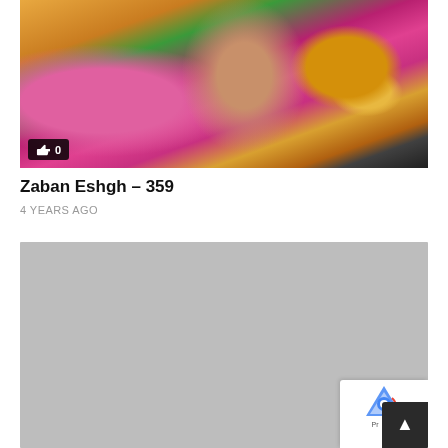[Figure (screenshot): Video thumbnail of an Indian woman in traditional attire at what appears to be a pooja/religious ceremony, with colorful decorations and a diya (oil lamp). A like button showing 0 likes is overlaid at the bottom left.]
Zaban Eshgh – 359
4 YEARS AGO
[Figure (photo): Gray placeholder image (second video thumbnail, not yet loaded)]